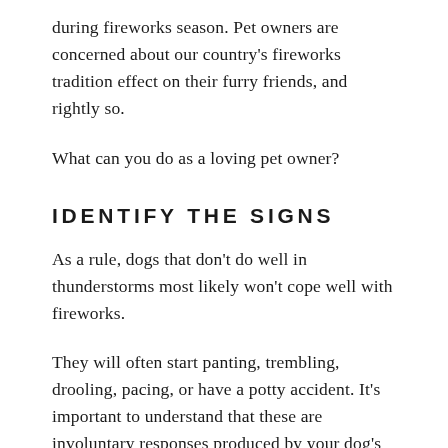during fireworks season. Pet owners are concerned about our country's fireworks tradition effect on their furry friends, and rightly so.
What can you do as a loving pet owner?
IDENTIFY THE SIGNS
As a rule, dogs that don't do well in thunderstorms most likely won't cope well with fireworks.
They will often start panting, trembling, drooling, pacing, or have a potty accident. It's important to understand that these are involuntary responses produced by your dog's autonomic nervous system.